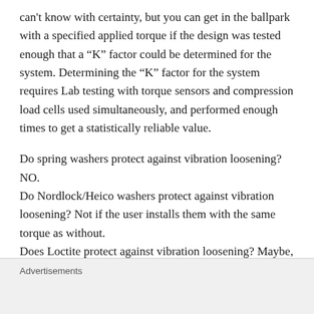can't know with certainty, but you can get in the ballpark with a specified applied torque if the design was tested enough that a “K” factor could be determined for the system. Determining the “K” factor for the system requires Lab testing with torque sensors and compression load cells used simultaneously, and performed enough times to get a statistically reliable value.
Do spring washers protect against vibration loosening? NO.
Do Nordlock/Heico washers protect against vibration loosening? Not if the user installs them with the same torque as without.
Does Loctite protect against vibration loosening? Maybe, if the bolt was properly tightened while the Loctite was
Advertisements